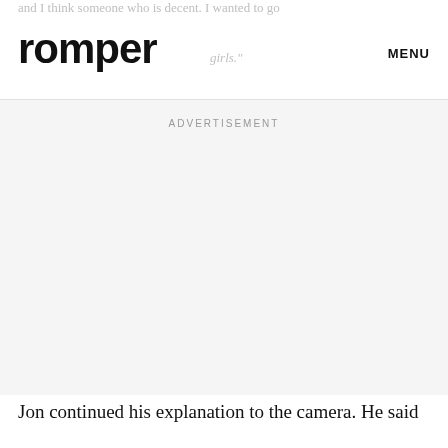and I think someone who is decent. I wanted to go
romper
girls.
MENU
ADVERTISEMENT
Jon continued his explanation to the camera. He said